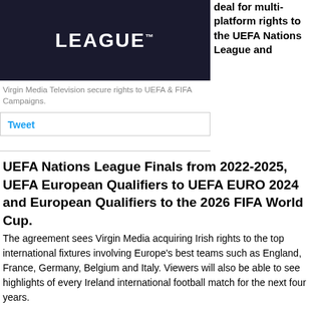[Figure (logo): Dark navy background with white bold text reading LEAGUE with trademark symbol]
deal for multi-platform rights to the UEFA Nations League and
Virgin Media Television secure rights to UEFA & FIFA Campaigns.
Tweet
UEFA Nations League Finals from 2022-2025, UEFA European Qualifiers to UEFA EURO 2024 and European Qualifiers to the 2026 FIFA World Cup.
The agreement sees Virgin Media acquiring Irish rights to the top international fixtures involving Europe's best teams such as England, France, Germany, Belgium and Italy. Viewers will also be able to see highlights of every Ireland international football match for the next four years.
June will see a feast of football, kicking off on June 1st, with the Finalissima featuring UEFA EURO 2020 winners Italy taking on Copa America holders Argentina.
The European Qualifiers to World Cup 2022 featuring Scotland against Ukraine and Poland versus Wales will also be